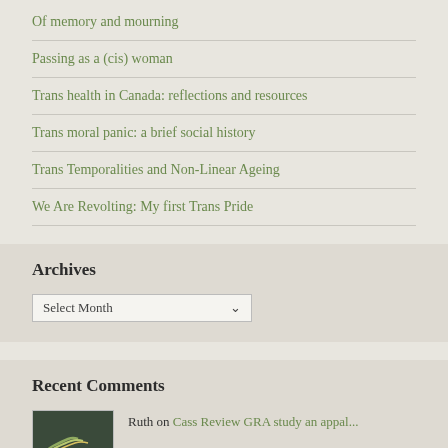Of memory and mourning
Passing as a (cis) woman
Trans health in Canada: reflections and resources
Trans moral panic: a brief social history
Trans Temporalities and Non-Linear Ageing
We Are Revolting: My first Trans Pride
Archives
Recent Comments
Ruth on Cass Review GRA study an appal...